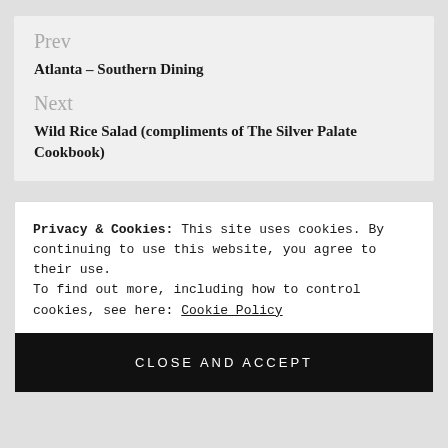Prev
Atlanta – Southern Dining
Next
Wild Rice Salad (compliments of The Silver Palate Cookbook)
Privacy & Cookies: This site uses cookies. By continuing to use this website, you agree to their use. To find out more, including how to control cookies, see here: Cookie Policy
CLOSE AND ACCEPT